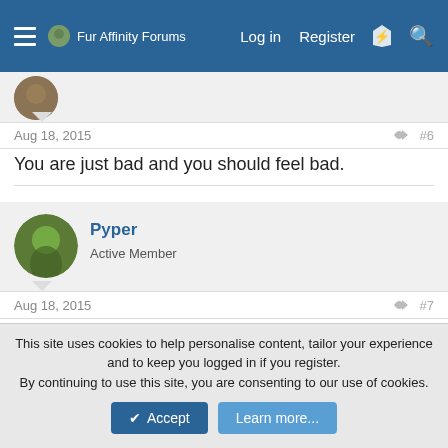Fur Affinity Forums   Log in   Register
Aug 18, 2015   #6
You are just bad and you should feel bad.
Pyper
Active Member
Aug 18, 2015   #7
so
LazerMaster5
Lost in the Static
This site uses cookies to help personalise content, tailor your experience and to keep you logged in if you register.
By continuing to use this site, you are consenting to our use of cookies.